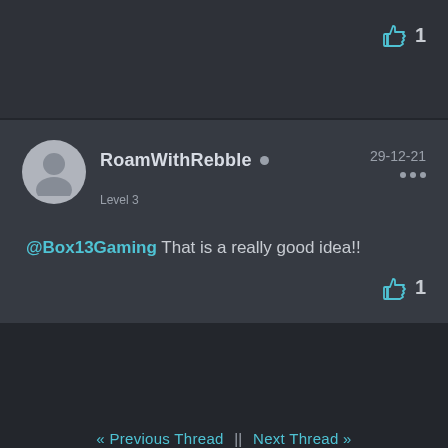[Figure (other): Thumbs up icon with count 1 in top-right corner]
RoamWithRebble • 29-12-21 Level 3
@Box13Gaming That is a really good idea!!
[Figure (other): Thumbs up icon with count 1 in bottom-right of post]
« Previous Thread || Next Thread »